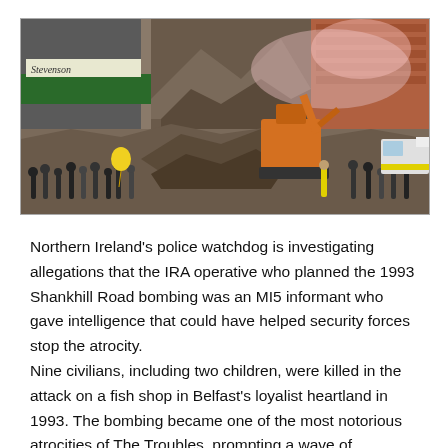[Figure (photo): A photograph showing the aftermath of the 1993 Shankhill Road bombing in Belfast. The scene shows a collapsed building with rubble, a crowd of people gathered, an orange excavator/digger, smoke in the background, and emergency vehicles. A shop sign reading 'Stevenson' is visible on the left, and a 'Blaze' sign is partially visible. People are working through debris.]
Northern Ireland's police watchdog is investigating allegations that the IRA operative who planned the 1993 Shankhill Road bombing was an MI5 informant who gave intelligence that could have helped security forces stop the atrocity.
Nine civilians, including two children, were killed in the attack on a fish shop in Belfast's loyalist heartland in 1993. The bombing became one of the most notorious atrocities of The Troubles, prompting a wave of sectarian revenge murders in